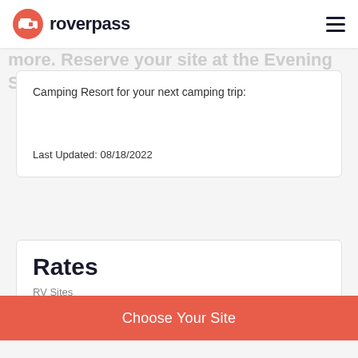roverpass
Camping Resort for your next camping trip:
Last Updated: 08/18/2022
Rates
RV Sites
Choose Your Site